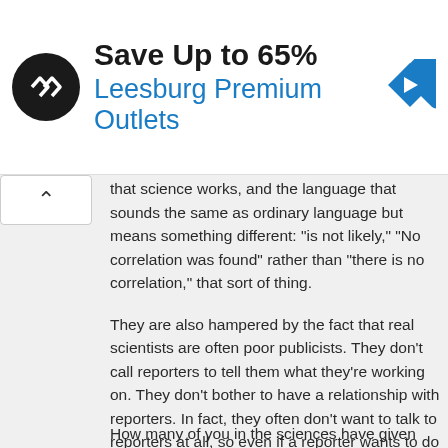[Figure (screenshot): Advertisement banner: black circular logo with double arrow symbol, 'Save Up to 65%' in bold black text, 'Leesburg Premium Outlets' in blue text, blue diamond navigation icon on right]
that science works, and the language that sounds the same as ordinary language but means something different: "is not likely," "No correlation was found" rather than "there is no correlation," that sort of thing.
They are also hampered by the fact that real scientists are often poor publicists. They don't call reporters to tell them what they're working on. They don't bother to have a relationship with reporters. In fact, they often don't want to talk to reporters at all, so even if a reporter wants to do science journalism, he or she will have to do a lot of persuading and sweet-talking--for a subject not deemed "sexy" by editors, on top of it, so the reporter will likely also have to sweet-talk and persuade the editor.
How many of you in the sciences have given...